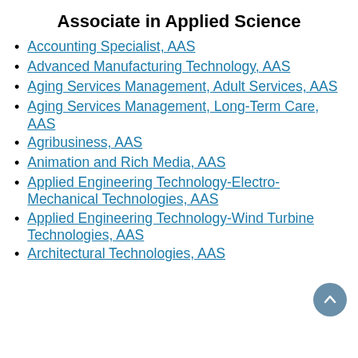Associate in Applied Science
Accounting Specialist, AAS
Advanced Manufacturing Technology, AAS
Aging Services Management, Adult Services, AAS
Aging Services Management, Long-Term Care, AAS
Agribusiness, AAS
Animation and Rich Media, AAS
Applied Engineering Technology-Electro-Mechanical Technologies, AAS
Applied Engineering Technology-Wind Turbine Technologies, AAS
Architectural Technologies, AAS